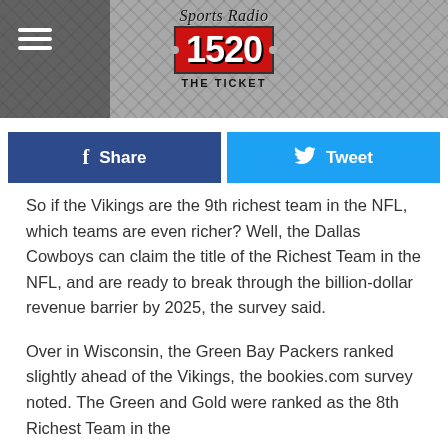Sports Radio 1520 THE TICKET
Share
Tweet
So if the Vikings are the 9th richest team in the NFL, which teams are even richer? Well, the Dallas Cowboys can claim the title of the Richest Team in the NFL, and are ready to break through the billion-dollar revenue barrier by 2025, the survey said.
Over in Wisconsin, the Green Bay Packers ranked slightly ahead of the Vikings, the bookies.com survey noted. The Green and Gold were ranked as the 8th Richest Team in the